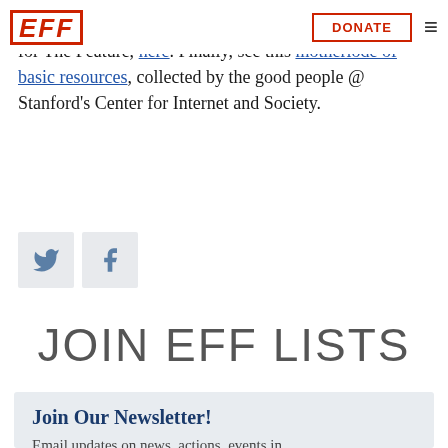EFF | DONATE
For more detailed information, check out Werbach's The Solution (PDF) and/or his shorter version for The Feature, here. Finally, see this motherlode of basic resources, collected by the good people @ Stanford's Center for Internet and Society.
[Figure (illustration): Twitter and Facebook social share icon buttons]
JOIN EFF LISTS
Join Our Newsletter! Email updates on news, actions, events in